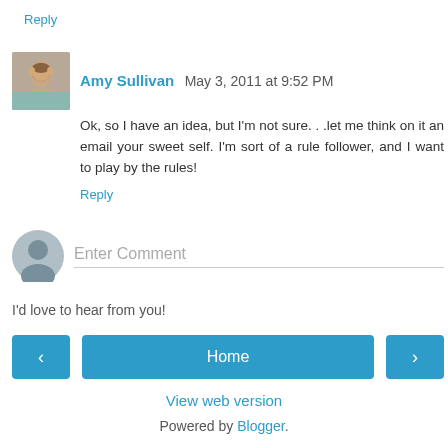Reply
Amy Sullivan  May 3, 2011 at 9:52 PM
Ok, so I have an idea, but I'm not sure. . .let me think on it an email your sweet self. I'm sort of a rule follower, and I want to play by the rules!
Reply
Enter Comment
I'd love to hear from you!
Home
View web version
Powered by Blogger.